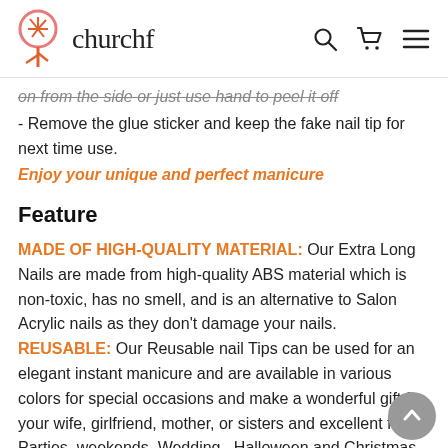churchf
on from the side or just use hand to peel it off
- Remove the glue sticker and keep the fake nail tip for next time use.
Enjoy your unique and perfect manicure
Feature
MADE OF HIGH-QUALITY MATERIAL: Our Extra Long Nails are made from high-quality ABS material which is non-toxic, has no smell, and is an alternative to Salon Acrylic nails as they don't damage your nails. REUSABLE: Our Reusable nail Tips can be used for an elegant instant manicure and are available in various colors for special occasions and make a wonderful gift for your wife, girlfriend, mother, or sisters and excellent for Parties, weekends, Wedding , Halloween and Christmas. Easy to Use:Nude ballerina fake nails with glue strcker can